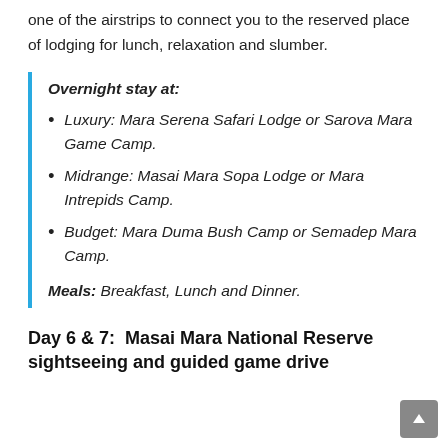one of the airstrips to connect you to the reserved place of lodging for lunch, relaxation and slumber.
Overnight stay at:
Luxury: Mara Serena Safari Lodge or Sarova Mara Game Camp.
Midrange: Masai Mara Sopa Lodge or Mara Intrepids Camp.
Budget: Mara Duma Bush Camp or Semadep Mara Camp.
Meals: Breakfast, Lunch and Dinner.
Day 6 & 7:  Masai Mara National Reserve sightseeing and guided game drive